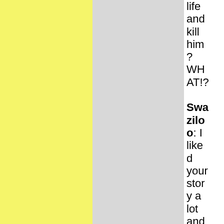life and kill him? WHAT!?
Swaziloo: I liked your story a lot and would have argu